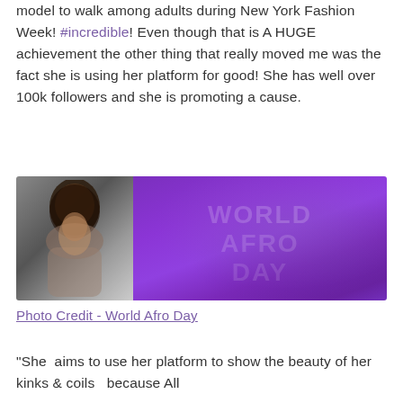model to walk among adults during New York Fashion Week! #incredible! Even though that is A HUGE achievement the other thing that really moved me was the fact she is using her platform for good! She has well over 100k followers and she is promoting a cause.
[Figure (photo): A blurred photo showing a person with afro hair on the left side against a grey background, and a purple/violet background with blurred text on the right side.]
Photo Credit - World Afro Day
"She  aims to use her platform to show the beauty of her kinks & coils   because All